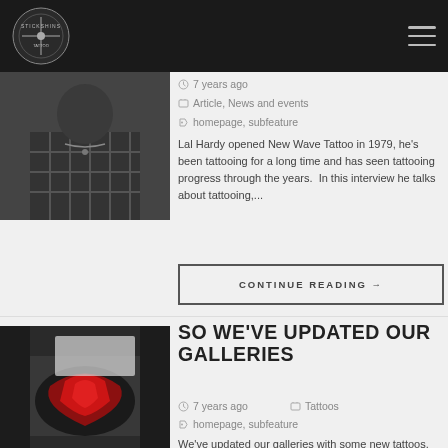Stickshins Tattoo — site header with logo and hamburger menu
[Figure (photo): Black and white photo of a person wearing a plaid shirt with chain necklace]
7 years ago
Article, News and events
homepage, subfeature
Lal Hardy opened New Wave Tattoo in 1979, he's been tattooing for a long time and has seen tattooing progress through the years.  In this interview he talks about tattooing,...
CONTINUE READING →
[Figure (photo): Color photo of a tattoo on a forearm featuring a red and black design]
SO WE'VE UPDATED OUR GALLERIES
7 years ago
Tattoos
homepage, subfeature
We've updated our galleries with some new tattoos.  Scott recently had the pleasure of